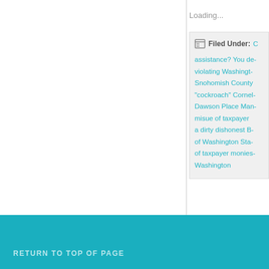Loading...
Filed Under: C... assistance? You de... violating Washingt... Snohomish County... "cockroach" Cornel... Dawson Place Man... misue of taxpayer... a dirty dishonest B... of Washington Sta... of taxpayer monies... Washington
RETURN TO TOP OF PAGE